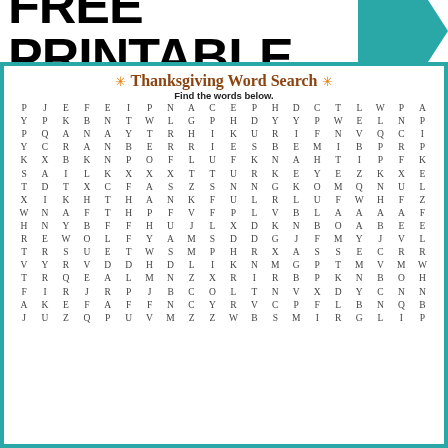FREE PRINTABLE
Thanksgiving Word Search
Find the words below.
[Figure (other): Word search grid with letters arranged in rows and columns for a Thanksgiving-themed word search puzzle]